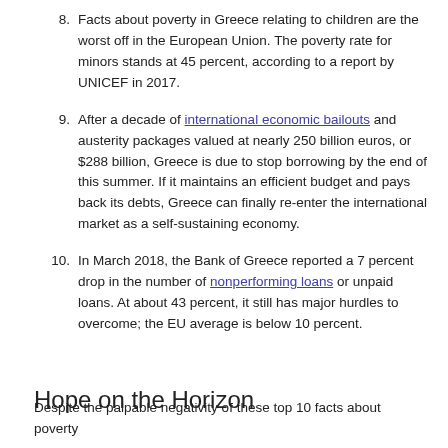8. Facts about poverty in Greece relating to children are the worst off in the European Union. The poverty rate for minors stands at 45 percent, according to a report by UNICEF in 2017.
9. After a decade of international economic bailouts and austerity packages valued at nearly 250 billion euros, or $288 billion, Greece is due to stop borrowing by the end of this summer. If it maintains an efficient budget and pays back its debts, Greece can finally re-enter the international market as a self-sustaining economy.
10. In March 2018, the Bank of Greece reported a 7 percent drop in the number of nonperforming loans or unpaid loans. At about 43 percent, it still has major hurdles to overcome; the EU average is below 10 percent.
Hope on the Horizon
Despite the palpable negativity of these top 10 facts about poverty